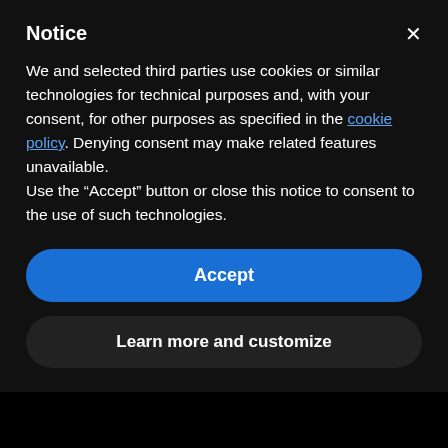Notice
We and selected third parties use cookies or similar technologies for technical purposes and, with your consent, for other purposes as specified in the cookie policy. Denying consent may make related features unavailable.
Use the “Accept” button or close this notice to consent to the use of such technologies.
Accept
Learn more and customize
administration. Graduate nursing courses include nursing theory, research, financial and human resource